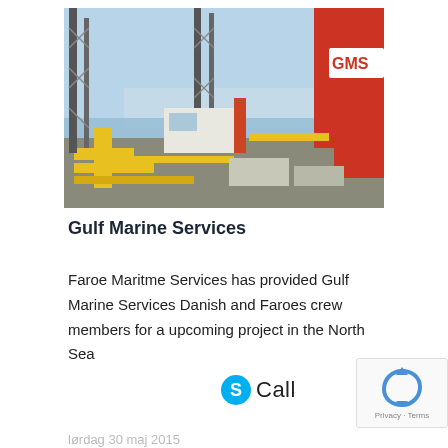[Figure (photo): Offshore jack-up rig or marine vessel deck with yellow crane equipment, drilling structures, and a large red crane arm labeled GMS, with a harbor and city skyline in the background.]
Gulf Marine Services
Faroe Maritme Services has provided Gulf Marine Services Danish and Faroes crew members for a upcoming project in the North Sea
[Figure (logo): Skype Call button with Skype S logo in blue]
[Figure (logo): reCAPTCHA logo with Privacy and Terms links]
lørdag 30 maj 2015